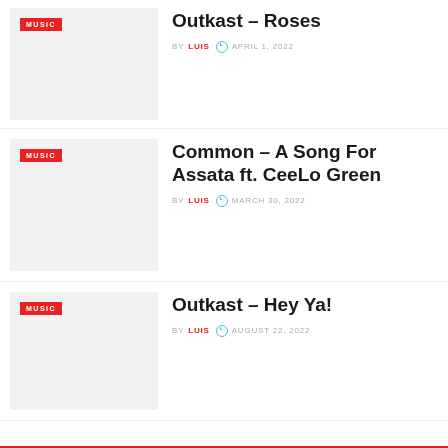Outkast – Roses | BY LUIS | APRIL 1, 2022
Common – A Song For Assata ft. CeeLo Green | BY LUIS | MARCH 30, 2022
Outkast – Hey Ya! | BY LUIS | AUGUST 22, 2022